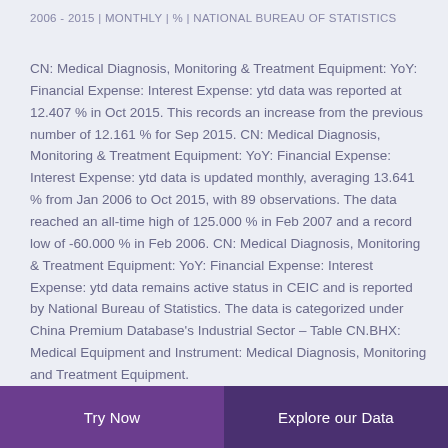2006 - 2015 | MONTHLY | % | NATIONAL BUREAU OF STATISTICS
CN: Medical Diagnosis, Monitoring & Treatment Equipment: YoY: Financial Expense: Interest Expense: ytd data was reported at 12.407 % in Oct 2015. This records an increase from the previous number of 12.161 % for Sep 2015. CN: Medical Diagnosis, Monitoring & Treatment Equipment: YoY: Financial Expense: Interest Expense: ytd data is updated monthly, averaging 13.641 % from Jan 2006 to Oct 2015, with 89 observations. The data reached an all-time high of 125.000 % in Feb 2007 and a record low of -60.000 % in Feb 2006. CN: Medical Diagnosis, Monitoring & Treatment Equipment: YoY: Financial Expense: Interest Expense: ytd data remains active status in CEIC and is reported by National Bureau of Statistics. The data is categorized under China Premium Database's Industrial Sector – Table CN.BHX: Medical Equipment and Instrument: Medical Diagnosis, Monitoring and Treatment Equipment.
Try Now | Explore our Data